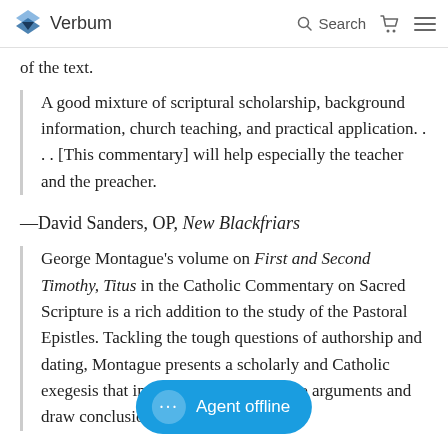Verbum  Search
of the text.
A good mixture of scriptural scholarship, background information, church teaching, and practical application. . . . [This commentary] will help especially the teacher and the preacher.
—David Sanders, OP, New Blackfriars
George Montague's volume on First and Second Timothy, Titus in the Catholic Commentary on Sacred Scripture is a rich addition to the study of the Pastoral Epistles. Tackling the tough questions of authorship and dating, Montague presents a scholarly and Catholic exegesis that incisively analyzes all the arguments and draw conclusions. Gleaning